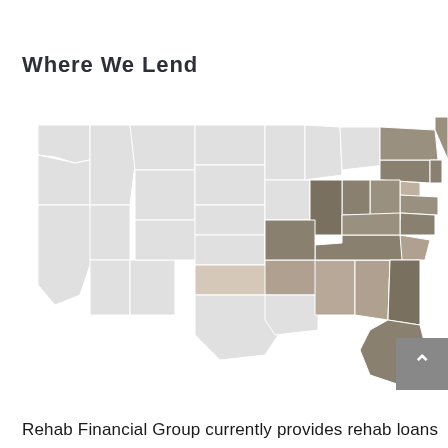Where We Lend
[Figure (map): A greyscale map of the United States showing states where Rehab Financial Group provides rehab loans. Several states are highlighted in a darker shade indicating lending areas, concentrated in the eastern and central regions.]
Rehab Financial Group currently provides rehab loans